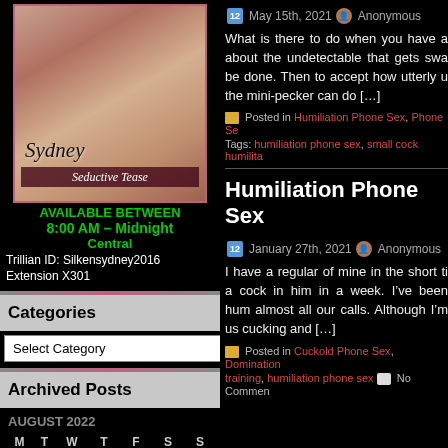[Figure (photo): Profile photo of Sydney with text overlay 'Sydney Seductive Tease']
AVAILABLE BETWEEN
8:00 AM – Midnight
Central
Trillian ID: Silkensydney2016
Extension X301
Categories
Select Category
Archived Posts
AUGUST 2022
| M | T | W | T | F | S | S |
| --- | --- | --- | --- | --- | --- | --- |
| 1 | 2 | 3 | 4 | 5 | 6 | 7 |
| 8 | 9 | 10 | 11 | 12 | 13 | 14 |
May 15th, 2021   Anonymous
What is there to do when you have a about the undetectable that gets swa be done. Then to accept how utterly u the mini-pecker can do […]
Posted in Humiliation Phone Sex, Phone Se
Tags: humiliation phone sex, small cock humilita
Humiliation Phone Sex
January 27th, 2021   Anonymous
I have a regular of mine in the short ti a cock in him in a week. I've been hum almost all our calls. Although I'm us cucking and […]
Posted in Cuckold Phone Sex, Domination
training, humiliation phone sex   No Commen